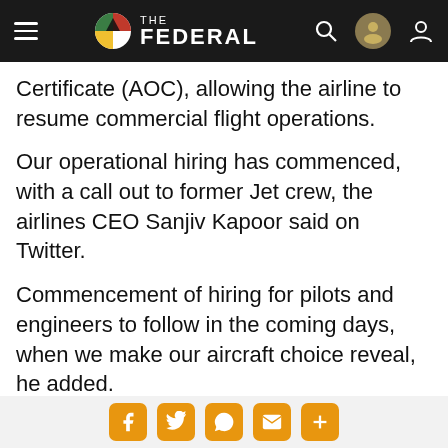THE FEDERAL
Certificate (AOC), allowing the airline to resume commercial flight operations.
Our operational hiring has commenced, with a call out to former Jet crew, the airlines CEO Sanjiv Kapoor said on Twitter.
Commencement of hiring for pilots and engineers to follow in the coming days, when we make our aircraft choice reveal, he added.
The opening batch of the cabin crew
Social share buttons: Facebook, Twitter, WhatsApp, Email, More